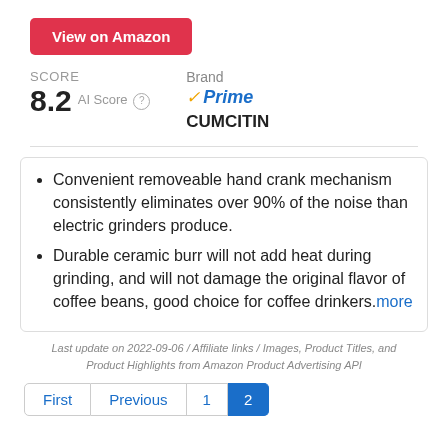View on Amazon
SCORE
8.2  AI Score
Brand
CUMCITIN
Prime
Convenient removeable hand crank mechanism consistently eliminates over 90% of the noise than electric grinders produce.
Durable ceramic burr will not add heat during grinding, and will not damage the original flavor of coffee beans, good choice for coffee drinkers.more
Last update on 2022-09-06 / Affiliate links / Images, Product Titles, and Product Highlights from Amazon Product Advertising API
First  Previous  1  2